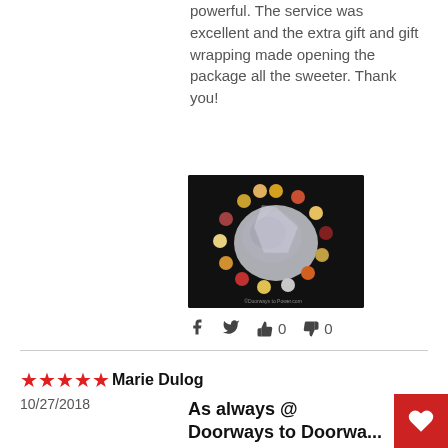powerful. The service was excellent and the extra gift and gift wrapping made opening the package all the sweeter. Thank you!
[Figure (photo): A beaded bracelet with multicolored stones arranged on a crystal or geode, photographed against a dark background. Watermark 'Doorways to Power.com' in corner.]
f  t  👍 0  👎 0
★★★★★ Marie Dulog
10/27/2018
As always @ Doorways to Doorwa...